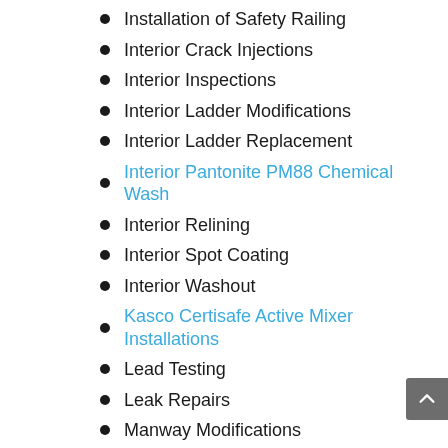Installation of Safety Railing
Interior Crack Injections
Interior Inspections
Interior Ladder Modifications
Interior Ladder Replacement
Interior Pantonite PM88 Chemical Wash
Interior Relining
Interior Spot Coating
Interior Washout
Kasco Certisafe Active Mixer Installations
Lead Testing
Leak Repairs
Manway Modifications
Manway Replacement
Mildew Inhibitor Application
NFPA25 Inspection – Fire Protection
Overflow Pipe Modification
Pipe Elimination Caps